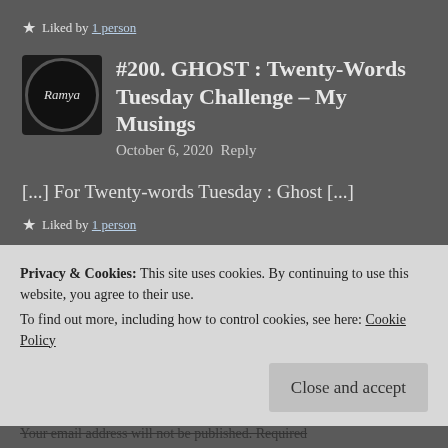★ Liked by 1 person
#200. GHOST : Twenty-Words Tuesday Challenge – My Musings
October 6, 2020  Reply
[...] For Twenty-words Tuesday : Ghost [...]
★ Liked by 1 person
Privacy & Cookies: This site uses cookies. By continuing to use this website, you agree to their use.
To find out more, including how to control cookies, see here: Cookie Policy
Close and accept
Your email address will not be published. Required